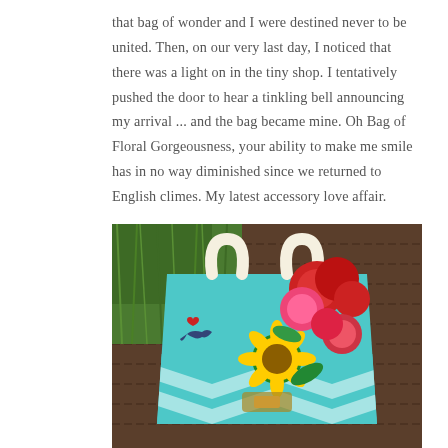that bag of wonder and I were destined never to be united. Then, on our very last day, I noticed that there was a light on in the tiny shop. I tentatively pushed the door to hear a tinkling bell announcing my arrival ... and the bag became mine. Oh Bag of Floral Gorgeousness, your ability to make me smile has in no way diminished since we returned to English climes. My latest accessory love affair.
[Figure (photo): A colorful floral tote bag with turquoise and chevron pattern, featuring roses, sunflowers, and a swallow bird motif, placed on a wicker surface with green grass in the background.]